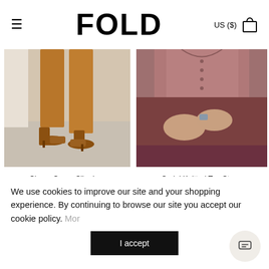FOLD — US ($)
[Figure (photo): Close-up of tan/caramel slim-leg trousers with brown heeled shoes on a light background]
[Figure (photo): Close-up of woman wearing dusty rose/mauve knitted top, hands clasped, wearing a silver ring, dark maroon trousers]
Clever Crepe Slim-Leg Elasticated Trousers Vicuna
$325.00 $260.00
Carini Knitted Top Storm Pink Merino
$265.00 $210.00
We use cookies to improve our site and your shopping experience. By continuing to browse our site you accept our cookie policy. More
I accept